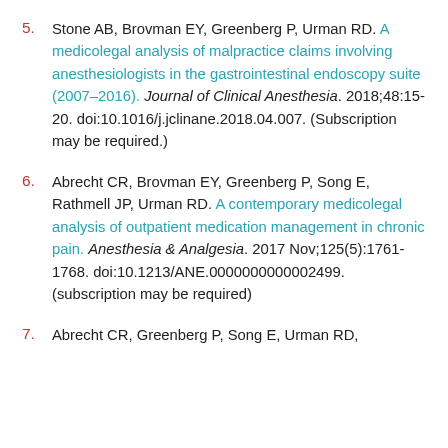5. Stone AB, Brovman EY, Greenberg P, Urman RD. A medicolegal analysis of malpractice claims involving anesthesiologists in the gastrointestinal endoscopy suite (2007–2016). Journal of Clinical Anesthesia. 2018;48:15-20. doi:10.1016/j.jclinane.2018.04.007. (Subscription may be required.)
6. Abrecht CR, Brovman EY, Greenberg P, Song E, Rathmell JP, Urman RD. A contemporary medicolegal analysis of outpatient medication management in chronic pain. Anesthesia & Analgesia. 2017 Nov;125(5):1761-1768. doi:10.1213/ANE.0000000000002499. (subscription may be required)
7. Abrecht CR, Greenberg P, Song E, Urman RD,